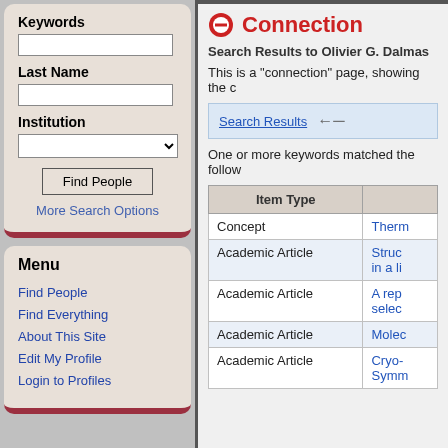Keywords
Last Name
Institution
Find People
More Search Options
Menu
Find People
Find Everything
About This Site
Edit My Profile
Login to Profiles
Connection
Search Results to Olivier G. Dalmas
This is a "connection" page, showing the c
Search Results
One or more keywords matched the follow
| Item Type |  |
| --- | --- |
| Concept | Therm |
| Academic Article | Struc in a li |
| Academic Article | A rep selec |
| Academic Article | Molec |
| Academic Article | Cryo- Symm |